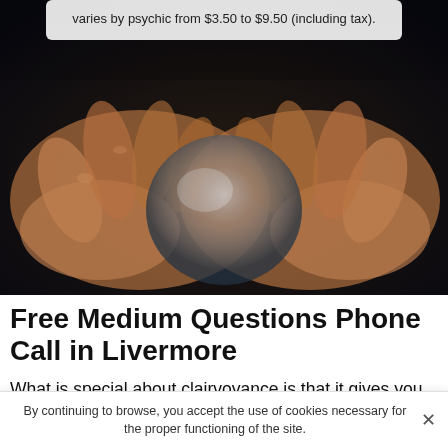varies by psychic from $3.50 to $9.50 (including tax).
[Figure (photo): Close-up photo of two hands holding a crystal ball on a dark background.]
Free Medium Questions Phone Call in Livermore
What is special about clairvoyance is that it gives you the opportunity to make incredible discoveries about your past life, your present life and your future. Through clairvoyance, you can also get a glimpse of the events that may come up in your life. Nowadays, it is easy to see that
By continuing to browse, you accept the use of cookies necessary for the proper functioning of the site.